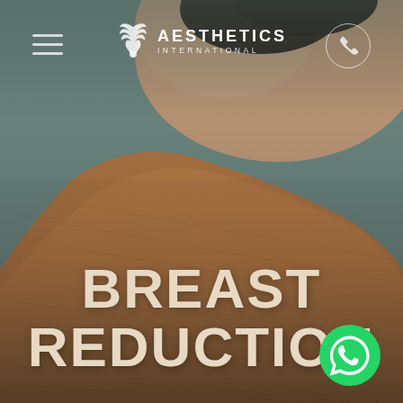[Figure (photo): Close-up photo of a woman's back wearing a brown ribbed top, with teal/grey background visible at left. Medical/cosmetic surgery clinic promotional image.]
[Figure (logo): Aesthetics International logo: white wing/feather icon with text 'AESTHETICS INTERNATIONAL']
BREAST REDUCTION